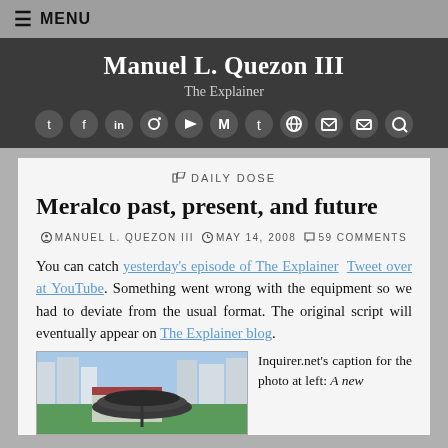MENU
Manuel L. Quezon III
The Explainer
DAILY DOSE
Meralco past, present, and future
MANUEL L. QUEZON III   MAY 14, 2008   59 COMMENTS
You can catch yesterday's episode of The Explainer  Tweet over at YouTube. Something went wrong with the equipment so we had to deviate from the usual format. The original script will eventually appear on The Explainer blog.
[Figure (photo): Photo of a large umbrella-like structure in a green area with city buildings in background]
Inquirer.net's caption for the photo at left: A new